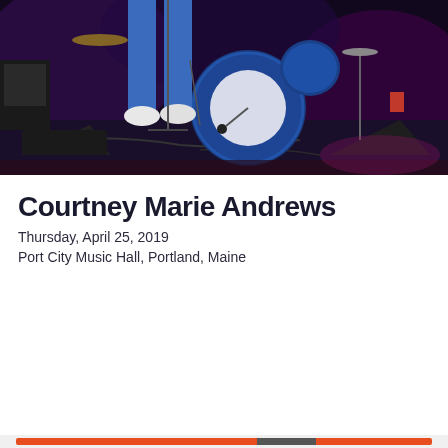[Figure (photo): Concert stage photo showing a performer's legs and feet in white shoes, a large blue bass drum with microphone, drum hardware, amplifiers, speakers and stage equipment on a dark stage with purple/pink lighting.]
Courtney Marie Andrews
Thursday, April 25, 2019
Port City Music Hall, Portland, Maine
Privacy & Cookies: This site uses cookies. By continuing to use this website, you agree to their use.
To find out more, including how to control cookies, see here: Cookie Policy
Close and accept